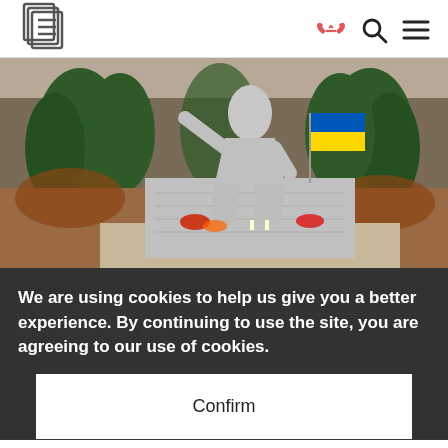[Logo: E] [heart-handshake icon] [search icon] [menu icon]
[Figure (photo): A stone war memorial statue with a Ukrainian flag visible, flowers placed at the base, trees in background]
Strategies of unimaginable crime
We are using cookies to help us give you a better experience. By continuing to use the site, you are agreeing to our use of cookies.
Confirm
While Zelensky calls for Ukrainian civilians to flee eastern Donetsk, under ongoing attack from
into salvation denies the evidence of war crimes on